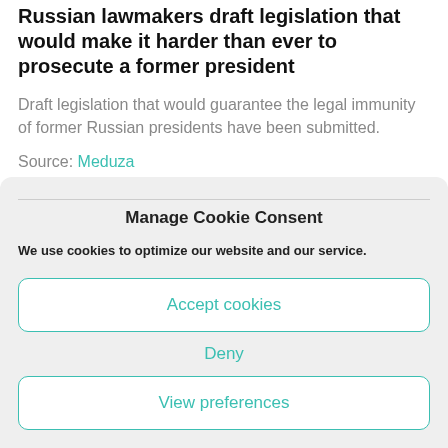Russian lawmakers draft legislation that would make it harder than ever to prosecute a former president
Draft legislation that would guarantee the legal immunity of former Russian presidents have been submitted.
Source: Meduza
Manage Cookie Consent
We use cookies to optimize our website and our service.
Accept cookies
Deny
View preferences